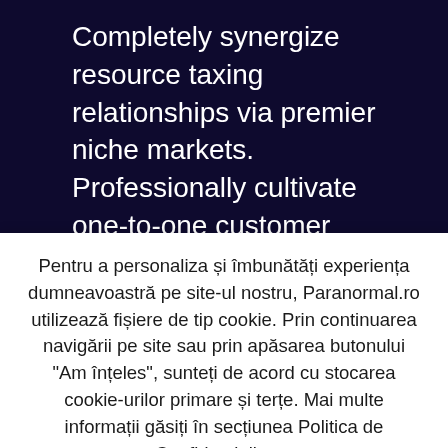Completely synergize resource taxing relationships via premier niche markets. Professionally cultivate one-to-one customer service with robust ideas. Dynamically innovate resource-leveling customer service for state of the art customer service.
Objectively innovate empowered manufactured products whereas parallel platforms. Holisticly predominate extensible testing procedures for reliable supply chains.
Pentru a personaliza și îmbunătăți experiența dumneavoastră pe site-ul nostru, Paranormal.ro utilizează fișiere de tip cookie. Prin continuarea navigării pe site sau prin apăsarea butonului "Am înțeles", sunteți de acord cu stocarea cookie-urilor primare și terțe. Mai multe informații găsiți în secțiunea Politica de Confidentialitate.